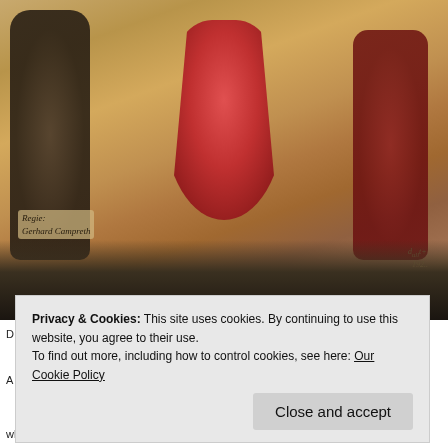[Figure (illustration): A vintage painted illustration or theatrical poster showing two figures in red/dark costumes standing together. A label in italic script reads 'Regie: Gerhard Campreth' at lower left. Handwritten signature-like text appears at lower right with what appears to be a date '192..'. A partial year '1896-03' or similar is visible at the very bottom edge.]
Privacy & Cookies: This site uses cookies. By continuing to use this website, you agree to their use.
To find out more, including how to control cookies, see here: Our Cookie Policy
Close and accept
while it was drizzly and grey outside, inside the Teatro Verdi an